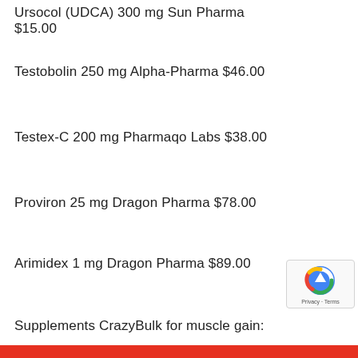Ursocol (UDCA) 300 mg Sun Pharma $15.00
Testobolin 250 mg Alpha-Pharma $46.00
Testex-C 200 mg Pharmaqo Labs $38.00
Proviron 25 mg Dragon Pharma $78.00
Arimidex 1 mg Dragon Pharma $89.00
Supplements CrazyBulk for muscle gain: